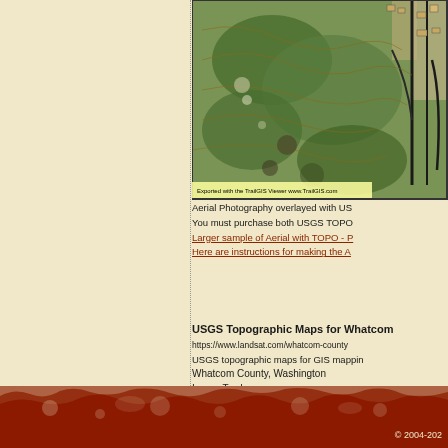[Figure (map): Aerial photography satellite image overlaid with USGS topographic map data showing Whatcom County, Washington area with terrain features, roads, and land cover. Watermark reads 'Exported with the TrailGIS Viewer www.TrailGIS.com' at bottom.]
Aerial Photography overlayed with US
You must purchase both USGS TOPO
Larger sample of Aerial with TOPO - P
Here are instructions for making the A
USGS Topographic Maps for Whatcom
https://www.landsat.com/whatcom-county
USGS topographic maps for GIS mappin
Whatcom County, Washington
Image Trader
Product ID: USGS-WA-53073
$15.99 New In Stock
© 2004-202